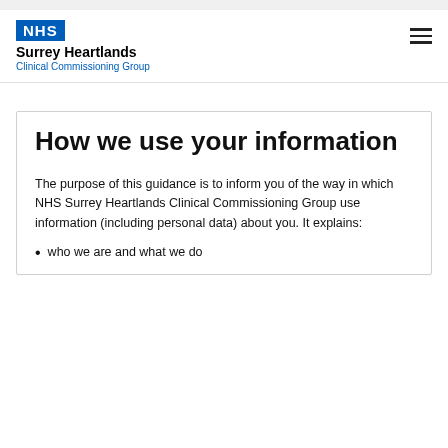[Figure (logo): NHS Surrey Heartlands Clinical Commissioning Group logo with NHS blue badge and organisation name]
How we use your information
The purpose of this guidance is to inform you of the way in which NHS Surrey Heartlands Clinical Commissioning Group use information (including personal data) about you.  It explains:
who we are and what we do